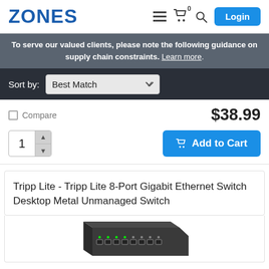ZONES | Login
To serve our valued clients, please note the following guidance on supply chain constraints. Learn more.
Sort by: Best Match
$38.99
Compare
1  Add to Cart
Tripp Lite - Tripp Lite 8-Port Gigabit Ethernet Switch Desktop Metal Unmanaged Switch
[Figure (photo): Partial image of a dark metal desktop network switch (Tripp Lite 8-Port Gigabit Ethernet Switch), showing the top and front port panel.]